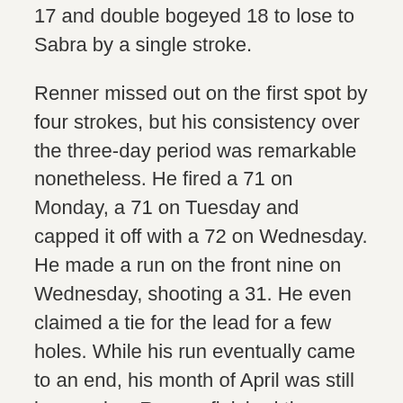17 and double bogeyed 18 to lose to Sabra by a single stroke.
Renner missed out on the first spot by four strokes, but his consistency over the three-day period was remarkable nonetheless. He fired a 71 on Monday, a 71 on Tuesday and capped it off with a 72 on Wednesday. He made a run on the front nine on Wednesday, shooting a 31. He even claimed a tie for the lead for a few holes. While his run eventually came to an end, his month of April was still impressive. Renner finished the spring season with three top-10 finishes.
The ACU team will say goodbye to two seniors following the conference tournament; the Wildcats will lose Ian Evans and Sullivan next